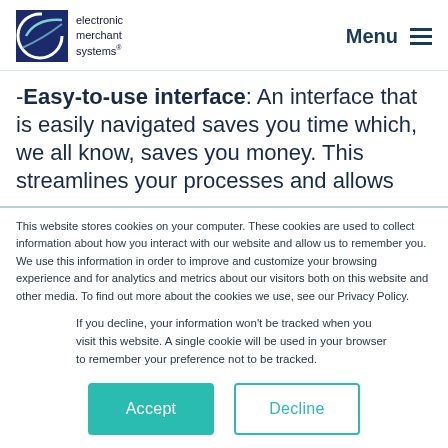electronic merchant systems — Menu
-Easy-to-use interface: An interface that is easily navigated saves you time which, we all know, saves you money. This streamlines your processes and allows
This website stores cookies on your computer. These cookies are used to collect information about how you interact with our website and allow us to remember you. We use this information in order to improve and customize your browsing experience and for analytics and metrics about our visitors both on this website and other media. To find out more about the cookies we use, see our Privacy Policy.
If you decline, your information won't be tracked when you visit this website. A single cookie will be used in your browser to remember your preference not to be tracked.
Accept   Decline